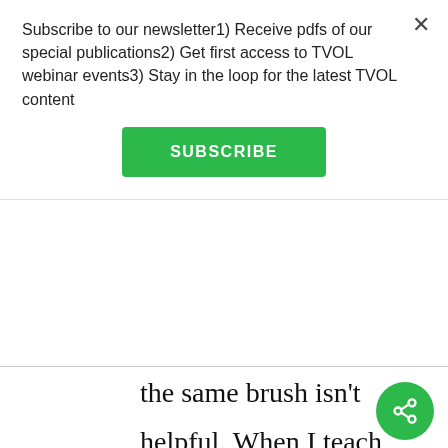Subscribe to our newsletter1) Receive pdfs of our special publications2) Get first access to TVOL webinar events3) Stay in the loop for the latest TVOL content
SUBSCRIBE
the same brush isn't helpful. When I teach evolutionary science (and all science for that matter) I always include material when appropriate that links the enterprise of science to social issues. This practice